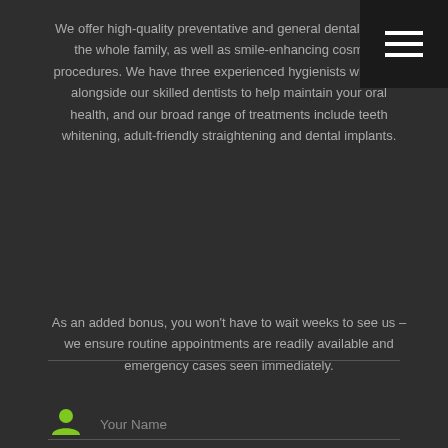We offer high-quality preventative and general dental care to the whole family, as well as smile-enhancing cosmetic procedures. We have three experienced hygienists who work alongside our skilled dentists to help maintain your oral health, and our broad range of treatments include teeth whitening, adult-friendly straightening and dental implants.
As an added bonus, you won't have to wait weeks to see us – we ensure routine appointments are readily available and emergency cases seen immediately.
Your Name